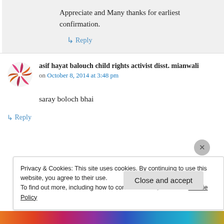Appreciate and Many thanks for earliest confirmation.
↳ Reply
asif hayat balouch child rights activist disst. mianwali
on October 8, 2014 at 3:48 pm
saray boloch bhai
↳ Reply
Privacy & Cookies: This site uses cookies. By continuing to use this website, you agree to their use.
To find out more, including how to control cookies, see here: Cookie Policy
Close and accept